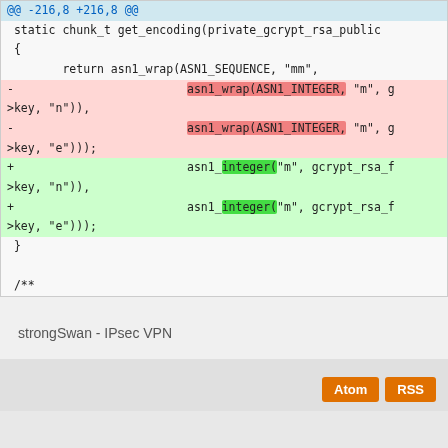[Figure (screenshot): Code diff showing changes in a C source file. Lines with @@ -216,8 +216,8 @@ diff header, then static function definitions. Removed lines (red background) use asn1_wrap(ASN1_INTEGER, ...) and added lines (green background) use asn1_integer(...) as replacements.]
strongSwan - IPsec VPN
Atom   RSS